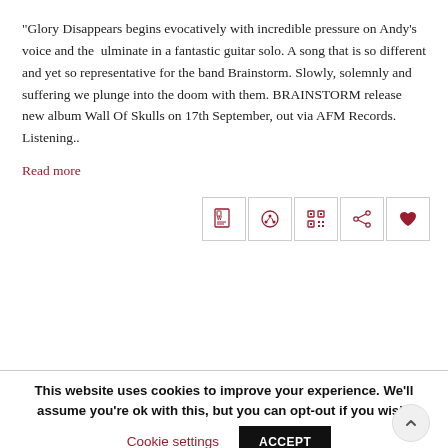"Glory Disappears begins evocatively with incredible pressure on Andy's voice and the ulminate in a fantastic guitar solo. A song that is so different and yet so representative for the band Brainstorm. Slowly, solemnly and suffering we plunge into the doom with them. BRAINSTORM release new album Wall Of Skulls on 17th September, out via AFM Records. Listening..
Read more
[Figure (other): Row of 5 icon buttons: Word document, share/rate (dial), QR code, share (network), heart/favorite]
This website uses cookies to improve your experience. We'll assume you're ok with this, but you can opt-out if you wish.
Cookie settings   ACCEPT